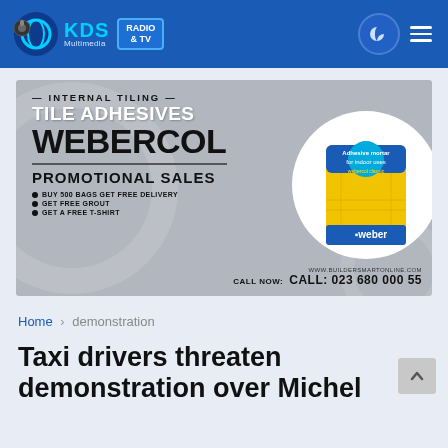KDS Multimedia RADIO & TV
[Figure (infographic): Advertisement banner for Webercol tile adhesives. Text reads: INTERNAL TILING — TILE ADHESIVES — WEBERCOL. PROMOTIONAL SALES. Bullet points: BUY 500 BAGS GET FREE DELIVERY, GET FREE GROUT, GET A FREE T-SHIRT. CALL NOW: CALL: 023 680 000 55. WWW.BUILDERSMARTONLINE.COM. Weber branded product bag shown in white circle on right.]
Home › demonstration
Taxi drivers threaten demonstration over Michel